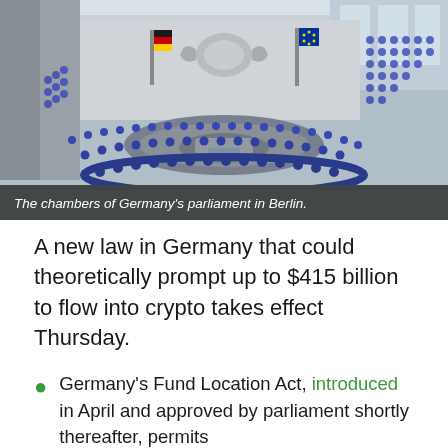[Figure (photo): Interior view of the chambers of Germany's parliament (Bundestag) in Berlin, showing the hemicycle arrangement of blue seats, the speaker's podium, and the German eagle emblem on the wall.]
The chambers of Germany's parliament in Berlin.
A new law in Germany that could theoretically prompt up to $415 billion to flow into crypto takes effect Thursday.
Germany's Fund Location Act, introduced in April and approved by parliament shortly thereafter, permits